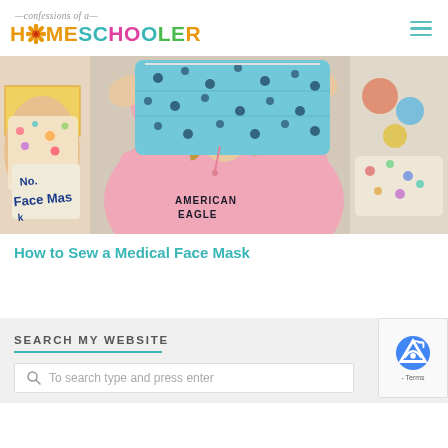confessions of a HOMESCHOOLER
[Figure (photo): A person in a pink American Eagle hoodie holding up a teal/blue patterned face mask. In the background there is a sign reading 'Face Mask' and colorful fabric. The image is from a homeschooling blog showing how to sew a medical face mask.]
How to Sew a Medical Face Mask
SEARCH MY WEBSITE
To search type and press enter